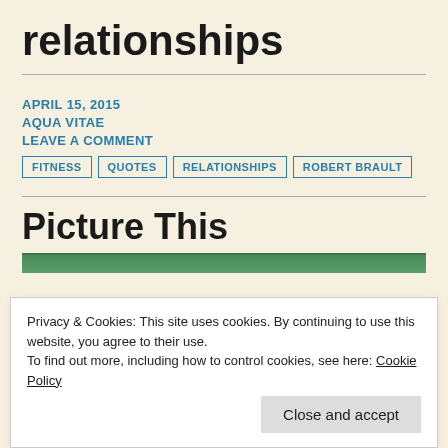relationships
APRIL 15, 2015
AQUA VITAE
LEAVE A COMMENT
FITNESS
QUOTES
RELATIONSHIPS
ROBERT BRAULT
Picture This
Privacy & Cookies: This site uses cookies. By continuing to use this website, you agree to their use.
To find out more, including how to control cookies, see here: Cookie Policy
Close and accept